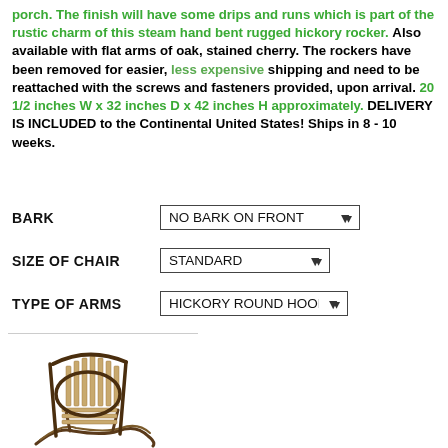porch. The finish will have some drips and runs which is part of the rustic charm of this steam hand bent rugged hickory rocker. Also available with flat arms of oak, stained cherry. The rockers have been removed for easier, less expensive shipping and need to be reattached with the screws and fasteners provided, upon arrival. 20 1/2 inches W x 32 inches D x 42 inches H approximately. DELIVERY IS INCLUDED to the Continental United States! Ships in 8 - 10 weeks.
BARK: NO BARK ON FRONT
SIZE OF CHAIR: STANDARD
TYPE OF ARMS: HICKORY ROUND HOOP
[Figure (photo): A hickory rocking chair with round hoop arms, visible wooden slats on back and seat, dark frame.]